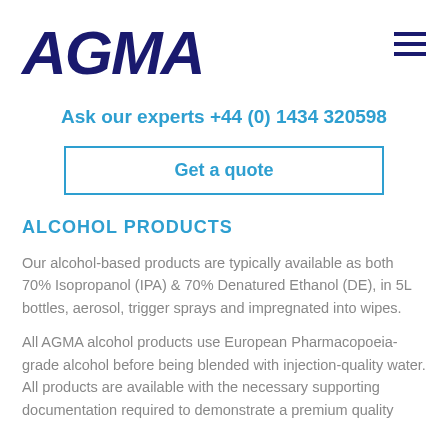[Figure (logo): AGMA logo in dark navy blue bold italic text]
Ask our experts +44 (0) 1434 320598
Get a quote
ALCOHOL PRODUCTS
Our alcohol-based products are typically available as both 70% Isopropanol (IPA) & 70% Denatured Ethanol (DE), in 5L bottles, aerosol, trigger sprays and impregnated into wipes.
All AGMA alcohol products use European Pharmacopoeia-grade alcohol before being blended with injection-quality water. All products are available with the necessary supporting documentation required to demonstrate a premium quality